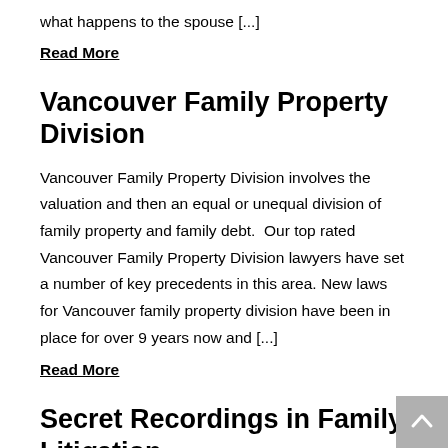what happens to the spouse [...]
Read More
Vancouver Family Property Division
Vancouver Family Property Division involves the valuation and then an equal or unequal division of family property and family debt.  Our top rated Vancouver Family Property Division lawyers have set a number of key precedents in this area. New laws for Vancouver family property division have been in place for over 9 years now and [...]
Read More
Secret Recordings in Family Litigation